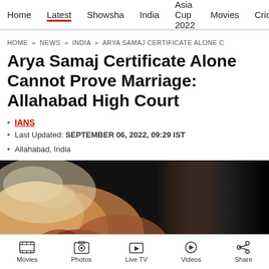Home | Latest | Showsha | India | Asia Cup 2022 | Movies | Cricket
HOME » NEWS » INDIA » ARYA SAMAJ CERTIFICATE ALONE C
Arya Samaj Certificate Alone Cannot Prove Marriage: Allahabad High Court
• IANS
• Last Updated: SEPTEMBER 06, 2022, 09:29 IST
• Allahabad, India
[Figure (photo): Close-up photo of hands with mehndi (henna) decoration and jewellery, wedding context, against dark background]
Movies | Photos | Live TV | Videos | Share